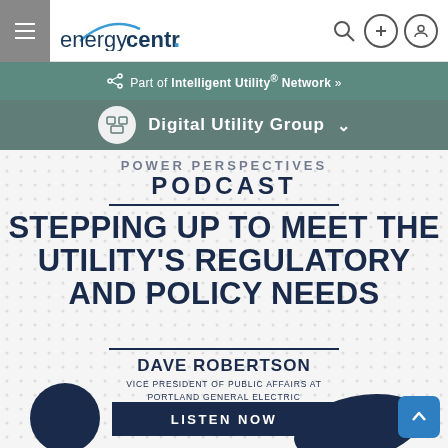energycentral. Part of Intelligent Utility® Network »  Digital Utility Group
POWER PERSPECTIVES PODCAST
STEPPING UP TO MEET THE UTILITY'S REGULATORY AND POLICY NEEDS
DAVE ROBERTSON
VICE PRESIDENT OF PUBLIC AFFAIRS AT PORTLAND GENERAL ELECTRIC
LISTEN NOW